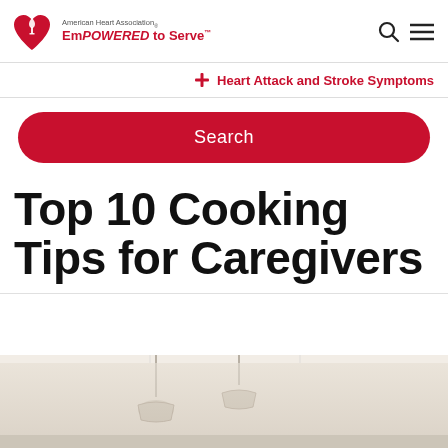[Figure (logo): American Heart Association EmPOWERED to Serve logo with red heart and torch icon]
Heart Attack and Stroke Symptoms
Search
Top 10 Cooking Tips for Caregivers
[Figure (photo): Kitchen interior with pendant lights hanging from ceiling]